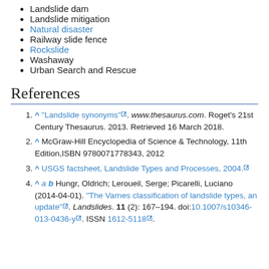Landslide dam
Landslide mitigation
Natural disaster
Railway slide fence
Rockslide
Washaway
Urban Search and Rescue
References
^ "Landslide synonyms". www.thesaurus.com. Roget's 21st Century Thesaurus. 2013. Retrieved 16 March 2018.
^ McGraw-Hill Encyclopedia of Science & Technology, 11th Edition,ISBN 9780071778343, 2012
^ USGS factsheet, Landslide Types and Processes, 2004.
^ a b Hungr, Oldrich; Leroueil, Serge; Picarelli, Luciano (2014-04-01). "The Varnes classification of landslide types, an update". Landslides. 11 (2): 167–194. doi:10.1007/s10346-013-0436-y. ISSN 1612-5118.